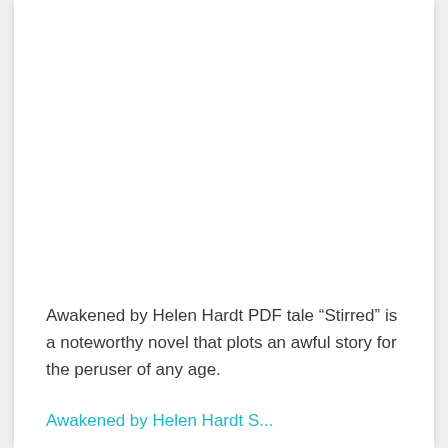Awakened by Helen Hardt PDF tale “Stirred” is a noteworthy novel that plots an awful story for the peruser of any age.
Awakened by Helen Hardt S...